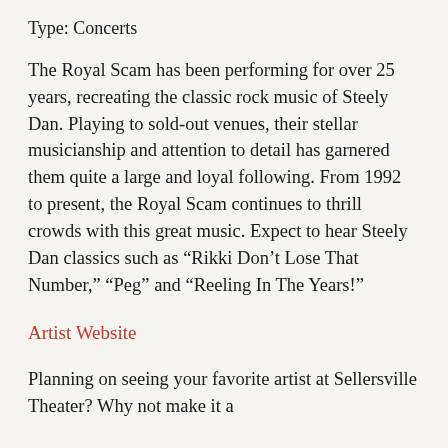Type: Concerts
The Royal Scam has been performing for over 25 years, recreating the classic rock music of Steely Dan. Playing to sold-out venues, their stellar musicianship and attention to detail has garnered them quite a large and loyal following. From 1992 to present, the Royal Scam continues to thrill crowds with this great music. Expect to hear Steely Dan classics such as “Rikki Don’t Lose That Number,” “Peg” and “Reeling In The Years!”
Artist Website
Planning on seeing your favorite artist at Sellersville Theater? Why not make it a